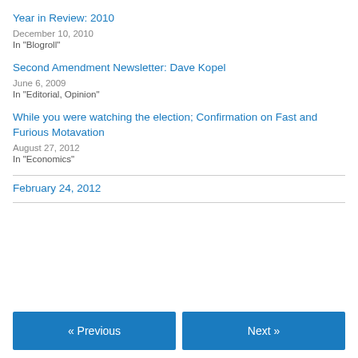Year in Review: 2010
December 10, 2010
In "Blogroll"
Second Amendment Newsletter: Dave Kopel
June 6, 2009
In "Editorial, Opinion"
While you were watching the election; Confirmation on Fast and Furious Motavation
August 27, 2012
In "Economics"
February 24, 2012
« Previous
Next »